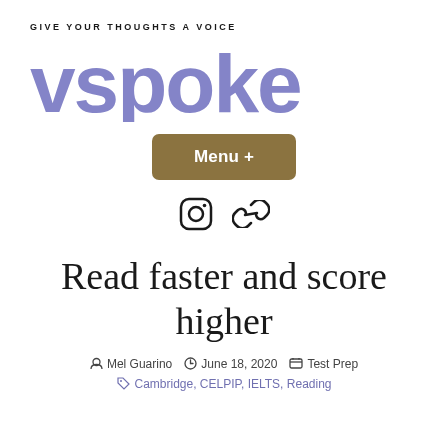[Figure (logo): vspoke logo with tagline 'GIVE YOUR THOUGHTS A VOICE' above it in purple/blue rounded lettering]
[Figure (other): Menu + button (olive/tan rounded rectangle) and social icons (Instagram circle icon and link icon)]
Read faster and score higher
Mel Guarino   June 18, 2020   Test Prep
Cambridge, CELPIP, IELTS, Reading